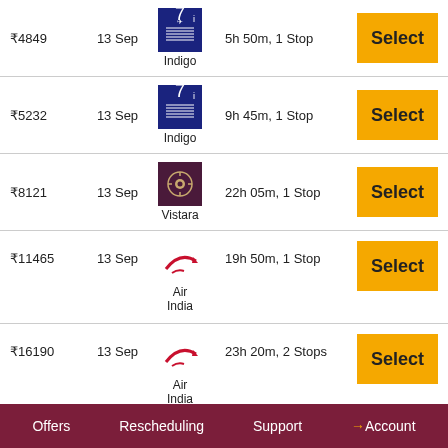| Price | Date | Airline | Duration | Action |
| --- | --- | --- | --- | --- |
| ₹4849 | 13 Sep | Indigo | 5h 50m, 1 Stop | Select |
| ₹5232 | 13 Sep | Indigo | 9h 45m, 1 Stop | Select |
| ₹8121 | 13 Sep | Vistara | 22h 05m, 1 Stop | Select |
| ₹11465 | 13 Sep | Air India | 19h 50m, 1 Stop | Select |
| ₹16190 | 13 Sep | Air India | 23h 20m, 2 Stops | Select |
| ₹16613 | 13 Sep | Vistara | 24h 50m, 2 Stops | Select |
Offers  Rescheduling  Support  →Account